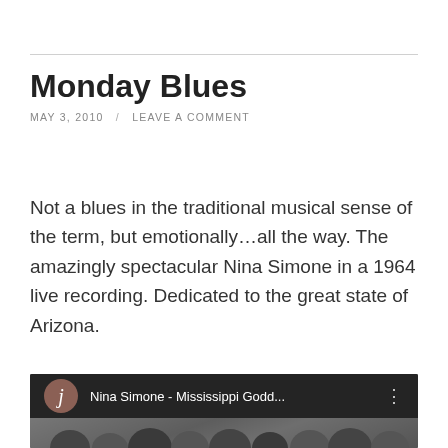Monday Blues
MAY 3, 2010  /  LEAVE A COMMENT
Not a blues in the traditional musical sense of the term, but emotionally…all the way.  The amazingly spectacular Nina Simone in a 1964 live recording.  Dedicated to the great state of Arizona.
[Figure (screenshot): YouTube video thumbnail showing Nina Simone - Mississippi Godd... with a brown avatar icon with letter j, kebab menu icon, and a black and white photo of a crowd scene below]